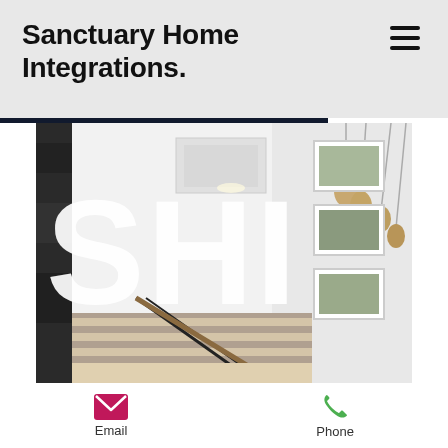Sanctuary Home Integrations.
[Figure (photo): Interior photo of a modern home hallway/staircase with white walls, hanging pendant lights in a teardrop shape, framed art on walls, and a dark artwork on the left. Large white 'SHI' letters overlaid on the image.]
Email
Phone